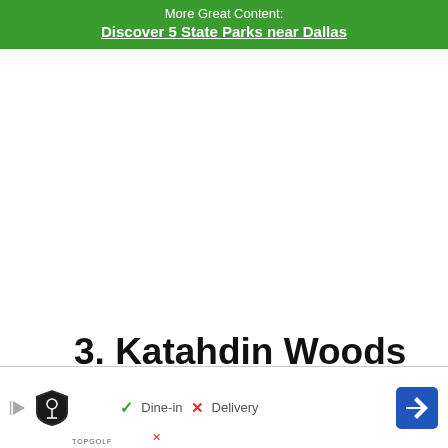More Great Content:
Discover 5 State Parks near Dallas
3. Katahdin Woods And Waters National Monument
[Figure (photo): Partial view of a nature/landscape photo showing blue sky, clouds, and green trees at the right edge, partially cropped at the bottom of the page]
[Figure (other): Advertisement overlay bar showing TopGolf logo, play button, Dine-in checkmark, Delivery X mark, and a blue navigation arrow button]